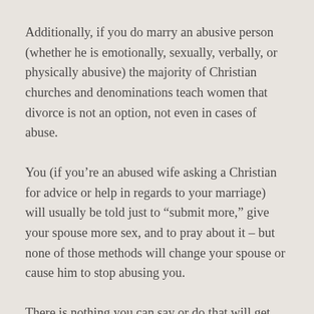Additionally, if you do marry an abusive person (whether he is emotionally, sexually, verbally, or physically abusive) the majority of Christian churches and denominations teach women that divorce is not an option, not even in cases of abuse.
You (if you’re an abused wife asking a Christian for advice or help in regards to your marriage) will usually be told just to “submit more,” give your spouse more sex, and to pray about it – but none of those methods will change your spouse or cause him to stop abusing you.
There is nothing you can say or do that will get